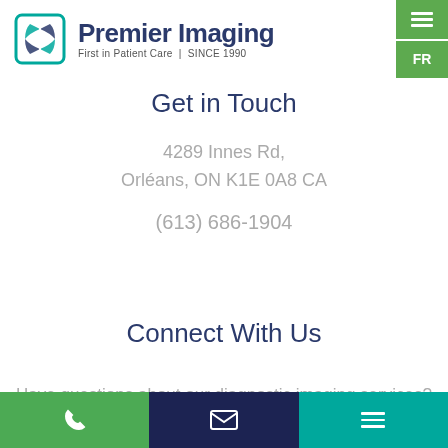[Figure (logo): Premier Imaging logo: geometric snowflake/star icon in teal and dark blue, with brand name 'Premier Imaging' in dark navy and tagline 'First in Patient Care | SINCE 1990']
Get in Touch
4289 Innes Rd, Orléans, ON K1E 0A8 CA
(613) 686-1904
Connect With Us
Have questions about our diagnostic imaging services? Get in touch.
Phone | Email | Menu navigation bar